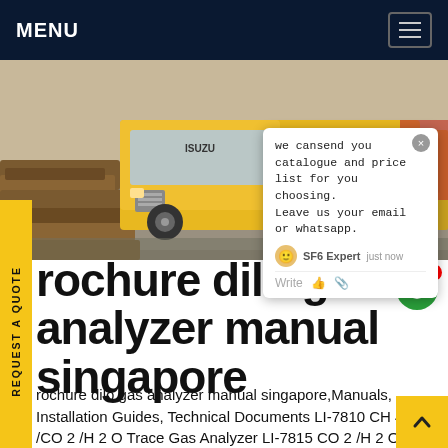MENU
[Figure (photo): Yellow Isuzu truck on a construction site with gravel and timber logs in foreground. Chat popup overlay visible.]
we cansend you catalogue and price list for you choosing. Leave us your email or whatsapp.
brochure dilo gas analyzer manual singapore
brochure dilo gas analyzer manual singapore,Manuals, Installation Guides, Technical Documents LI-7810 CH 4 /CO 2 /H 2 O Trace Gas Analyzer LI-7815 CO 2 /H 2 O Trace Gas Analyzer Contact Us US Toll-Free: 1-800-447-3576